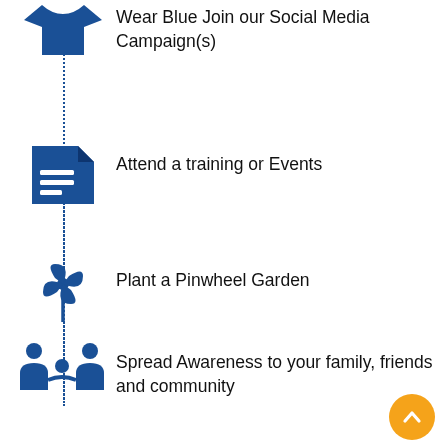Wear Blue Join our Social Media Campaign(s)
Attend a training or Events
Plant a Pinwheel Garden
Spread Awareness to your family, friends and community
Donate needed items or gift cards
Click here to view the calendar of events- click or put on page